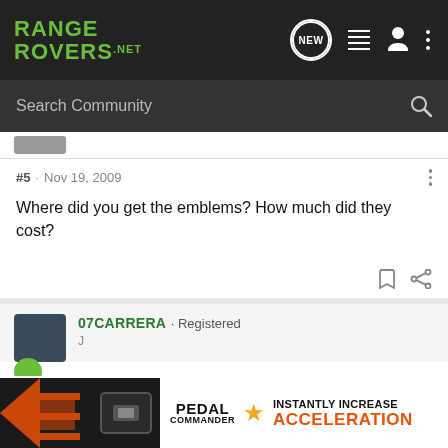RANGE ROVERS .NET
Search Community
#5 · Nov 19, 2009
Where did you get the emblems? How much did they cost?
07CARRERA · Registered
[Figure (photo): Pedal Commander advertisement banner: dark left side with orange arrows and a device, right side with PEDAL COMMANDER logo, star, and text INSTANTLY INCREASE ACCELERATION in orange]